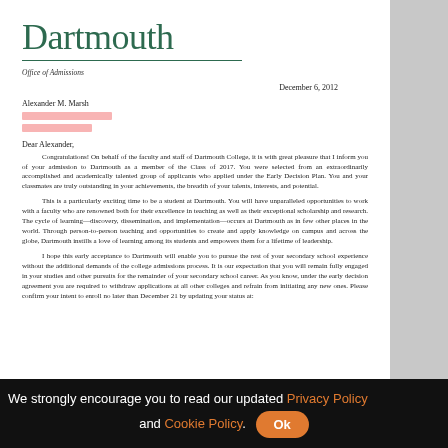Dartmouth
Office of Admissions
December 6, 2012
Alexander M. Marsh
[redacted address]
[redacted city/state/zip]
Dear Alexander,
Congratulations!  On behalf of the faculty and staff of Dartmouth College, it is with great pleasure that I inform you of your admission to Dartmouth as a member of the Class of 2017.  You were selected from an extraordinarily accomplished and academically talented group of applicants who applied under the Early Decision Plan.  You and your classmates are truly outstanding in your achievements, the breadth of your talents, interests, and potential.
This is a particularly exciting time to be a student at Dartmouth.  You will have unparalleled opportunities to work with a faculty who are renowned both for their excellence in teaching as well as their exceptional scholarship and research.  The cycle of learning—discovery, dissemination, and implementation—occurs at Dartmouth as in few other places in the world.  Through person-to-person teaching and opportunities to create and apply knowledge on campus and across the globe, Dartmouth instills a love of learning among its students and empowers them for a lifetime of leadership.
I hope this early acceptance to Dartmouth will enable you to pursue the rest of your secondary school experience without the additional demands of the college admissions process.  It is our expectation that you will remain fully engaged in your studies and other pursuits for the remainder of your secondary school career.  As you know, under the early decision agreement you are required to withdraw applications at all other colleges and refrain from initiating any new ones.  Please confirm your intent to enroll no later than December 21 by updating your status at:
We strongly encourage you to read our updated Privacy Policy and Cookie Policy.  Ok